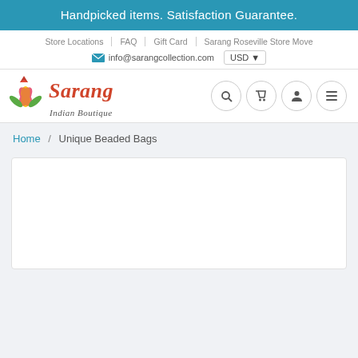Handpicked items. Satisfaction Guarantee.
Store Locations | FAQ | Gift Card | Sarang Roseville Store Move
info@sarangcollection.com  USD
[Figure (logo): Sarang Indian Boutique logo with colorful lotus flower and red italic text]
Home / Unique Beaded Bags
[Figure (other): White product listing area box, partially visible]